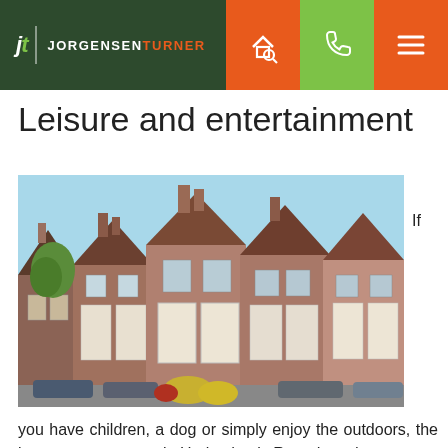jt | JORGENSENTURNER [nav: search, phone, menu icons]
Leisure and entertainment
[Figure (photo): Row of traditional Victorian terraced brick houses with white rendered bay windows and brown tiled roofs under a blue sky, with parked cars visible at the bottom.]
If you have children, a dog or simply enjoy the outdoors, the largest green space in Harlesden is Roundwood